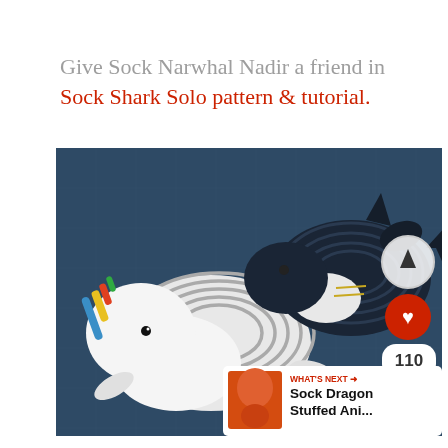Give Sock Narwhal Nadir a friend in Sock Shark Solo pattern & tutorial.
[Figure (photo): Two stuffed animal toys made from socks on a blue fabric background. On the left is a narwhal with a striped body and colorful horn. On the right is a dark navy shark. UI overlay includes up arrow button, heart button, share count of 110, share button, and a 'What's Next' banner for 'Sock Dragon Stuffed Ani...'. Craft-Passion watermark visible.]